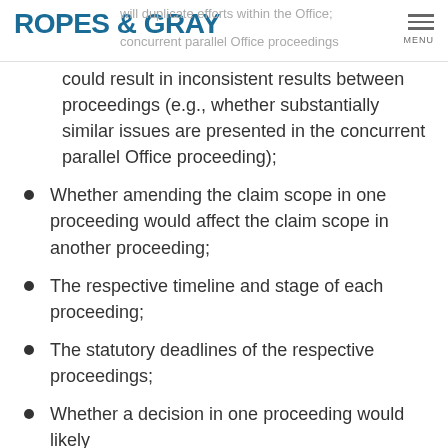ROPES & GRAY | will duplicate efforts within the Office; | concurrent parallel Office proceedings | MENU
could result in inconsistent results between proceedings (e.g., whether substantially similar issues are presented in the concurrent parallel Office proceeding);
Whether amending the claim scope in one proceeding would affect the claim scope in another proceeding;
The respective timeline and stage of each proceeding;
The statutory deadlines of the respective proceedings;
Whether a decision in one proceeding would likely